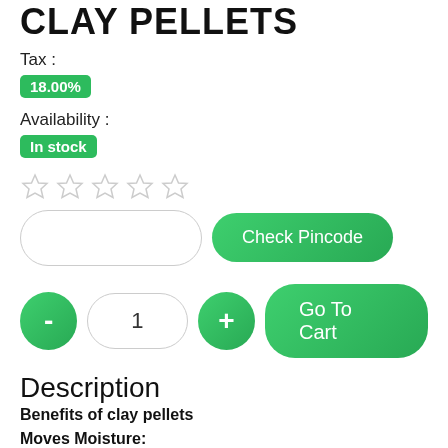CLAY PELLETS
Tax :
18.00%
Availability :
In stock
[Figure (other): Five empty star rating icons in a row]
[Figure (other): Pincode input field and Check Pincode button]
[Figure (other): Quantity selector with minus, 1, plus buttons and Go To Cart button]
Description
Benefits of clay pellets
Moves Moisture:
Hydroton clay stones are good for retaining moisture. If you are